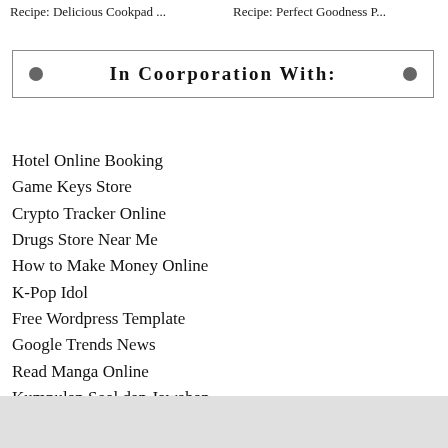Recipe: Delicious Cookpad ...   Recipe: Perfect Goodness P...
In Coorporation With:
Hotel Online Booking
Game Keys Store
Crypto Tracker Online
Drugs Store Near Me
How to Make Money Online
K-Pop Idol
Free Wordpress Template
Google Trends News
Read Manga Online
Kumpulan Soal dan Jawaban
Short Url Free
Easy Recipes
Movies & TV Show
Article Generator
Free Download APK